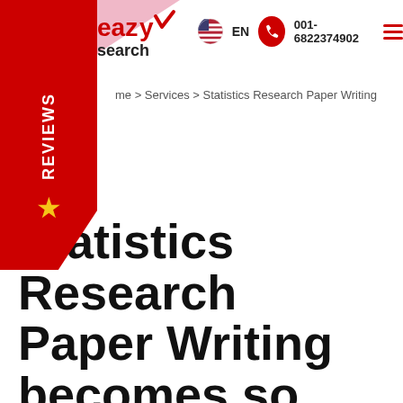[Figure (logo): EazyResearch logo with red text and pink triangle background, showing 'eazy' with checkmark and 'search' text below]
[Figure (infographic): Red vertical side banner with white REVIEWS text rotated vertically and yellow star icon]
EN  001-6822374902
me > Services > Statistics Research Paper Writing
Statistics Research Paper Writing becomes so much easier